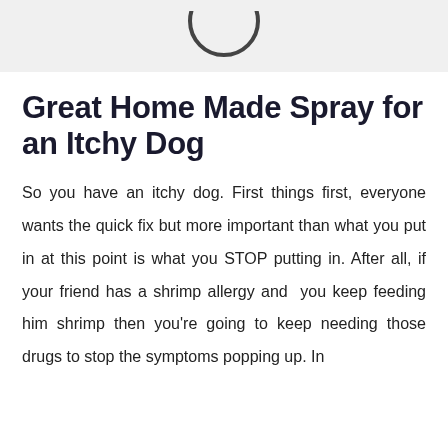[Figure (logo): Partial logo visible at top of page in grey header bar]
Great Home Made Spray for an Itchy Dog
So you have an itchy dog. First things first, everyone wants the quick fix but more important than what you put in at this point is what you STOP putting in. After all, if your friend has a shrimp allergy and you keep feeding him shrimp then you're going to keep needing those drugs to stop the symptoms popping up. In